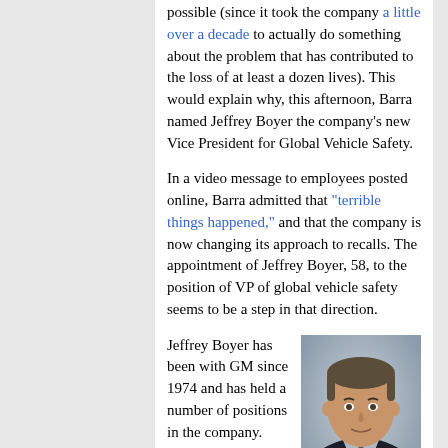possible (since it took the company a little over a decade to actually do something about the problem that has contributed to the loss of at least a dozen lives). This would explain why, this afternoon, Barra named Jeffrey Boyer the company's new Vice President for Global Vehicle Safety.
In a video message to employees posted online, Barra admitted that "terrible things happened," and that the company is now changing its approach to recalls. The appointment of Jeffrey Boyer, 58, to the position of VP of global vehicle safety seems to be a step in that direction.
Jeffrey Boyer has been with GM since 1974 and has held a number of positions in the company. Since 2011, he has been the director of engineering operations and systems
[Figure (photo): Headshot photo of Jeffrey Boyer, a middle-aged man with brown hair wearing a dark suit and tie, photographed against a grey background.]